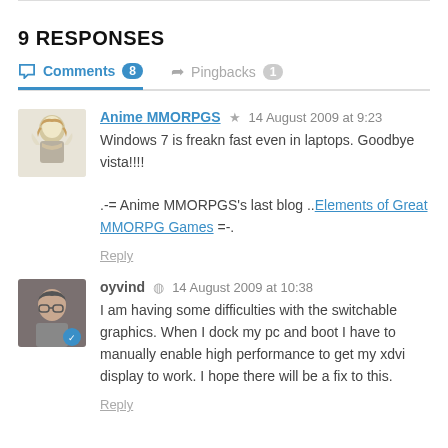9 RESPONSES
Comments 8   Pingbacks 1
Anime MMORPGS  14 August 2009 at 9:23
Windows 7 is freakn fast even in laptops. Goodbye vista!!!!
.-= Anime MMORPGS's last blog ..Elements of Great MMORPG Games =-.
Reply
oyvind  14 August 2009 at 10:38
I am having some difficulties with the switchable graphics. When I dock my pc and boot I have to manually enable high performance to get my xdvi display to work. I hope there will be a fix to this.
Reply